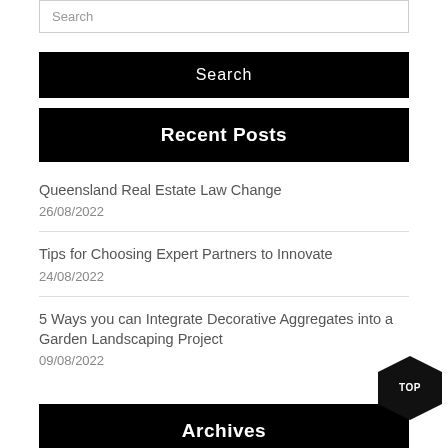Search
Search
Recent Posts
Queensland Real Estate Law Change
26/08/2022
Tips for Choosing Expert Partners to Innovate
24/08/2022
5 Ways you can Integrate Decorative Aggregates into a Garden Landscaping Project
09/08/2022
Archives